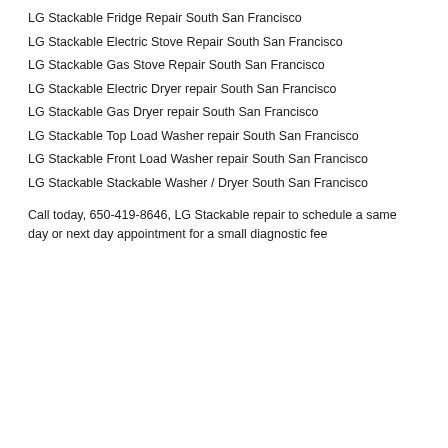LG Stackable Fridge Repair South San Francisco
LG Stackable Electric Stove Repair South San Francisco
LG Stackable Gas Stove Repair South San Francisco
LG Stackable Electric Dryer repair South San Francisco
LG Stackable Gas Dryer repair South San Francisco
LG Stackable Top Load Washer repair South San Francisco
LG Stackable Front Load Washer repair South San Francisco
LG Stackable Stackable Washer / Dryer South San Francisco
Call today, 650-419-8646, LG Stackable repair to schedule a same day or next day appointment for a small diagnostic fee